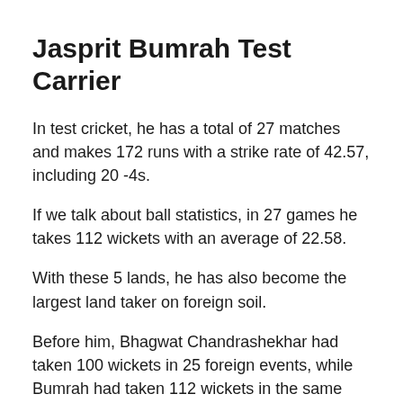Jasprit Bumrah Test Carrier
In test cricket, he has a total of 27 matches and makes 172 runs with a strike rate of 42.57, including 20 -4s.
If we talk about ball statistics, in 27 games he takes 112 wickets with an average of 22.58.
With these 5 lands, he has also become the largest land taker on foreign soil.
Before him, Bhagwat Chandrashekhar had taken 100 wickets in 25 foreign events, while Bumrah had taken 112 wickets in the same number of matches.